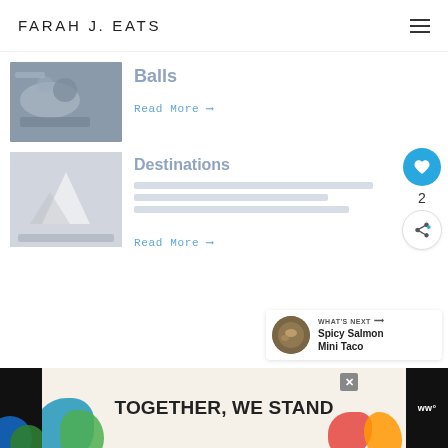FARAH J. EATS
Balls
Read More →
Destinations
Read More →
[Figure (other): What's Next panel showing Spicy Salmon Mini Taco with thumbnail]
[Figure (other): Advertisement banner: TOGETHER, WE STAND]